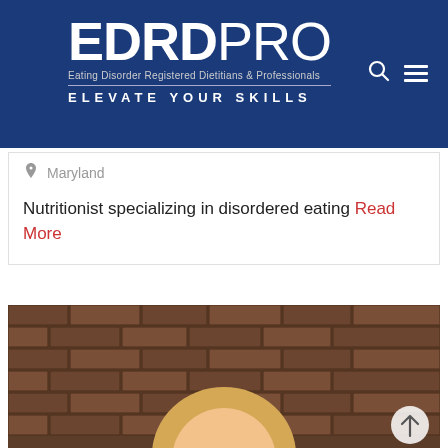EDRDPRO - Eating Disorder Registered Dietitians & Professionals - ELEVATE YOUR SKILLS
Maryland
Nutritionist specializing in disordered eating Read More
[Figure (photo): Woman with blonde hair and bangs smiling in front of a brick wall]